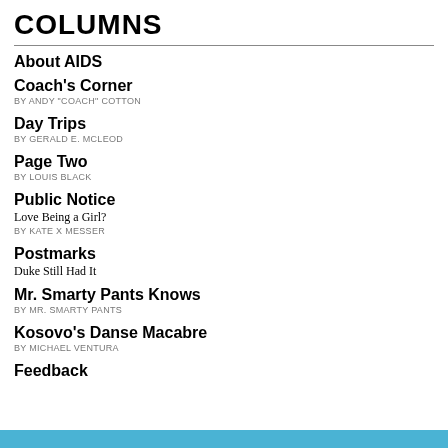COLUMNS
About AIDS
Coach's Corner
BY ANDY "COACH" COTTON
Day Trips
BY GERALD E. MCLEOD
Page Two
BY LOUIS BLACK
Public Notice
Love Being a Girl?
BY KATE X MESSER
Postmarks
Duke Still Had It
Mr. Smarty Pants Knows
BY MR. SMARTY PANTS
Kosovo's Danse Macabre
BY MICHAEL VENTURA
Feedback